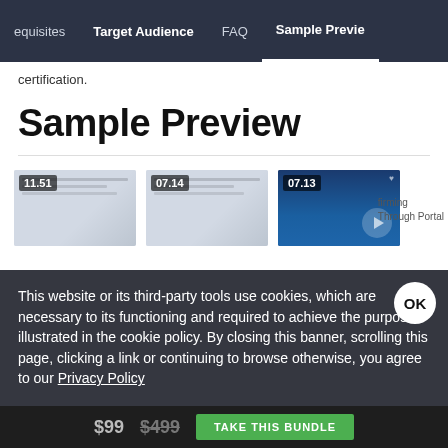equisites   Target Audience   FAQ   Sample Preview
certification.
Sample Preview
[Figure (screenshot): Three video thumbnail previews with time badges: 11.51, 07.14, 07.13. Third thumbnail shows a dark blue interface with a play button.]
This website or its third-party tools use cookies, which are necessary to its functioning and required to achieve the purposes illustrated in the cookie policy. By closing this banner, scrolling this page, clicking a link or continuing to browse otherwise, you agree to our Privacy Policy
$99 $499   TAKE THIS BUNDLE